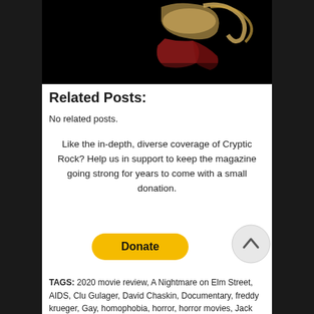[Figure (photo): Dark photo of a person with blonde hair, partially lit against a black background]
Related Posts:
No related posts.
Like the in-depth, diverse coverage of Cryptic Rock? Help us in support to keep the magazine going strong for years to come with a small donation.
[Figure (other): Donate button (yellow rounded rectangle with bold 'Donate' text)]
[Figure (other): Scroll-to-top circular button with upward arrow]
TAGS: 2020 movie review, A Nightmare on Elm Street, AIDS, Clu Gulager, David Chaskin, Documentary, freddy krueger, Gay, homophobia, horror, horror movies, Jack Sholder, Kim Myers,